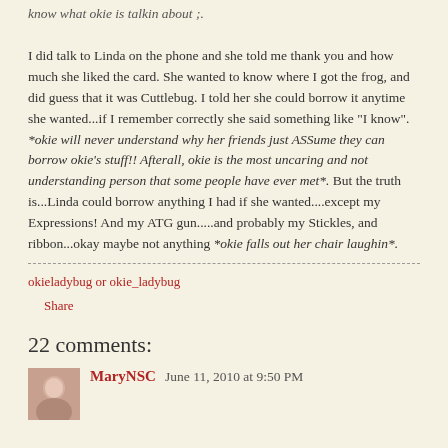know what okie is talkin about ;. I did talk to Linda on the phone and she told me thank you and how much she liked the card. She wanted to know where I got the frog, and did guess that it was Cuttlebug. I told her she could borrow it anytime she wanted...if I remember correctly she said something like "I know". *okie will never understand why her friends just ASSume they can borrow okie's stuff!! Afterall, okie is the most uncaring and not understanding person that some people have ever met*. But the truth is...Linda could borrow anything I had if she wanted....except my Expressions! And my ATG gun.....and probably my Stickles, and ribbon...okay maybe not anything *okie falls out her chair laughin*.
okieladybug or okie_ladybug
Share
22 comments:
MaryNSC   June 11, 2010 at 9:50 PM